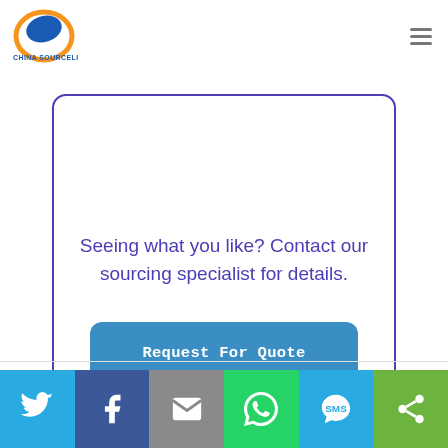China Sourcelink
Seeing what you like? Contact our sourcing specialist for details.
Request For Quote
Social share bar: Twitter, Facebook, Email, WhatsApp, SMS, Other